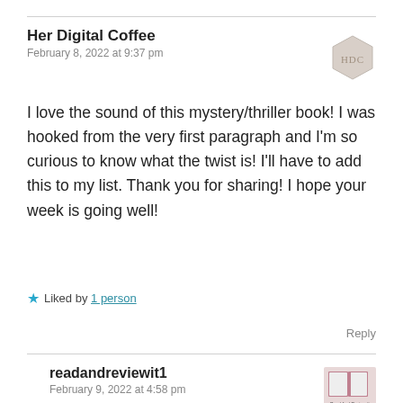Her Digital Coffee
February 8, 2022 at 9:37 pm
I love the sound of this mystery/thriller book! I was hooked from the very first paragraph and I'm so curious to know what the twist is! I'll have to add this to my list. Thank you for sharing! I hope your week is going well!
Liked by 1 person
Reply
readandreviewit1
February 9, 2022 at 4:58 pm
Ooh I'm so glad to hear you like the sound of it and enjoyed my